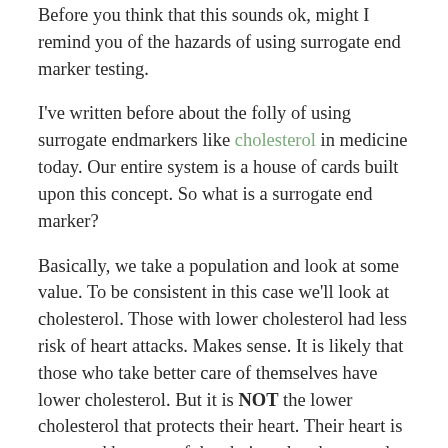Before you think that this sounds ok, might I remind you of the hazards of using surrogate end marker testing.
I've written before about the folly of using surrogate endmarkers like cholesterol in medicine today. Our entire system is a house of cards built upon this concept. So what is a surrogate end marker?
Basically, we take a population and look at some value. To be consistent in this case we'll look at cholesterol. Those with lower cholesterol had less risk of heart attacks. Makes sense. It is likely that those who take better care of themselves have lower cholesterol. But it is NOT the lower cholesterol that protects their heart. Their heart is protected because of the choices they have made. These choices lower cholesterol. AND raise HDL. AND lower blood pressure. And maintain ideal body composition. And improve gut health. And lower uric acid... The list is endless.